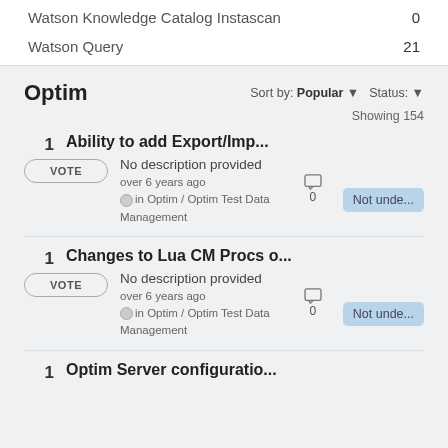| Product | Count |
| --- | --- |
| Watson Knowledge Catalog Instascan | 0 |
| Watson Query | 21 |
Optim
Sort by: Popular ▼   Status: ▼
Showing 154
1 - Ability to add Export/Imp...
VOTE
No description provided
over 6 years ago in Optim / Optim Test Data Management
0 comments
Not unde...
1 - Changes to Lua CM Procs o...
VOTE
No description provided
over 6 years ago in Optim / Optim Test Data Management
0 comments
Not unde...
1 - Optim Server configuratio...